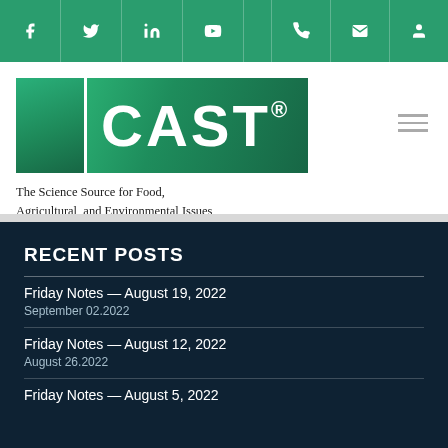[Figure (logo): CAST logo - The Science Source for Food, Agricultural, and Environmental Issues, with social media navigation icons (Facebook, Twitter, LinkedIn, YouTube) and utility icons (phone, email, user) on green top bar]
RECENT POSTS
Friday Notes — August 19, 2022
September 02.2022
Friday Notes — August 12, 2022
August 26.2022
Friday Notes — August 5, 2022